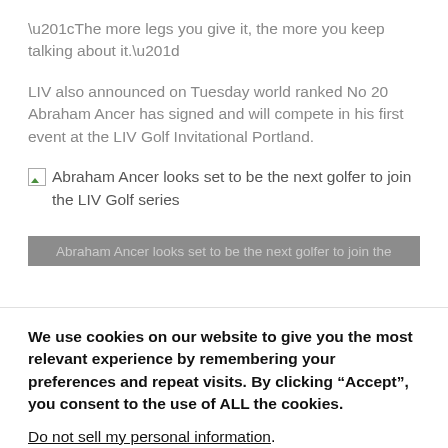“The more legs you give it, the more you keep talking about it.”
LIV also announced on Tuesday world ranked No 20 Abraham Ancer has signed and will compete in his first event at the LIV Golf Invitational Portland.
[Figure (photo): Broken image placeholder with alt text: Abraham Ancer looks set to be the next golfer to join the LIV Golf series]
Abraham Ancer looks set to be the next golfer to join the
We use cookies on our website to give you the most relevant experience by remembering your preferences and repeat visits. By clicking “Accept”, you consent to the use of ALL the cookies.
Do not sell my personal information.